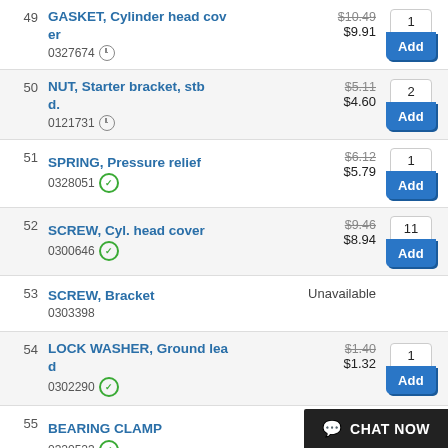49 GASKET, Cylinder head cover 0327674 $10.49 $9.91 qty:1 Add
50 NUT, Starter bracket, stbd. 0121731 $5.11 $4.60 qty:2 Add
51 SPRING, Pressure relief 0328051 $6.12 $5.79 qty:1 Add
52 SCREW, Cyl. head cover 0300646 $9.46 $8.94 qty:11 Add
53 SCREW, Bracket 0303398 Unavailable
54 LOCK WASHER, Ground lead 0302290 $1.40 $1.32 qty:1 Add
55 BEARING CLAMP 0320523 $7.79 $7.30 qty:1 Add